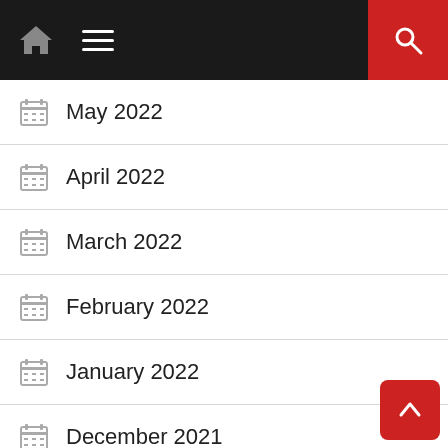Navigation bar with home icon, menu, and search button
May 2022
April 2022
March 2022
February 2022
January 2022
December 2021
November 2021
October 2021
September 2021